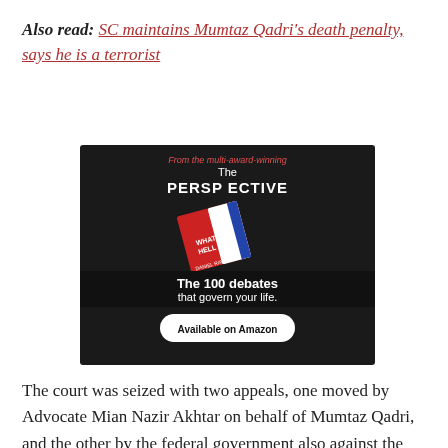Also read: SC maintains Mumtaz Qadri's death penalty, says he is a terrorist
[Figure (other): Advertisement for 'The Perspective' book - 'The 100 debates that govern your life. Available on Amazon.' by Daniel Ravner. Dark background with book cover showing red and blue design.]
The court was seized with two appeals, one moved by Advocate Mian Nazir Akhtar on behalf of Mumtaz Qadri, and the other by the federal government also against the Islamabad High Court